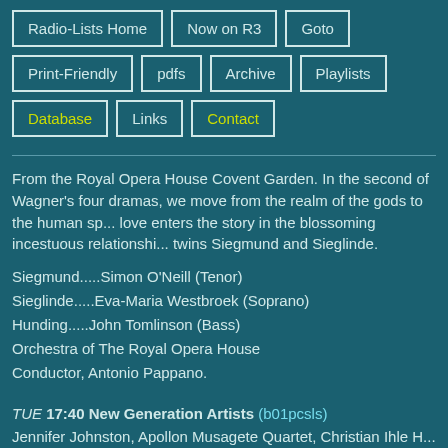Radio-Lists Home
Now on R3
Goto
Print-Friendly
pdfs
Archive
Playlists
Database
Links
Contact
From the Royal Opera House Covent Garden. In the second of Wagner's four dramas, we move from the realm of the gods to the human sphere. Erotic love enters the story in the blossoming incestuous relationship between the twins Siegmund and Sieglinde.
Siegmund.....Simon O'Neill (Tenor)
Sieglinde.....Eva-Maria Westbroek (Soprano)
Hunding.....John Tomlinson (Bass)
Orchestra of The Royal Opera House
Conductor, Antonio Pappano.
TUE 17:40 New Generation Artists (b01pcsls)
Jennifer Johnston, Apollon Musagete Quartet, Christian Ihle H
Robin Tritschler